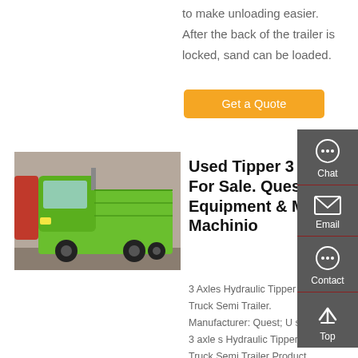to make unloading easier. After the back of the trailer is locked, sand can be loaded.
Get a Quote
[Figure (photo): Green dump truck / tipper truck semi trailer on display in a warehouse or exhibition hall]
Used Tipper 3 Axle For Sale. Quest Equipment & More | Machinio
3 Axles Hydraulic Tipper Dump Truck Semi Trailer. Manufacturer: Quest; U shape 3 axle s Hydraulic Tipper Dump Truck Semi Trailer Product